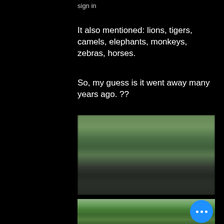sign in
It also mentioned: lions, tigers, camels, elephants, monkeys, zebras, horses.
So, my guess is it went away many years ago. ??
[Figure (photo): Blurry photo taken from inside a car showing a road and green vegetation/trees in the background]
[Figure (photo): Photo of palm trees and tropical vegetation with a blue circular button with three dots overlay in the bottom right]